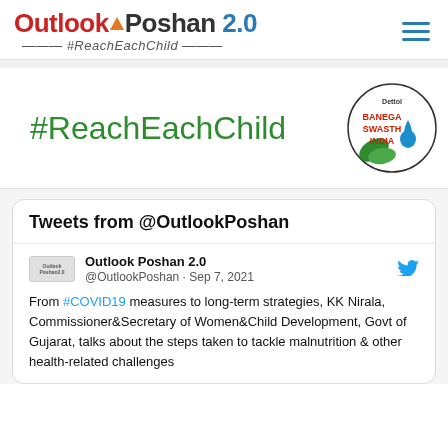[Figure (logo): Outlook Poshan 2.0 #ReachEachChild logo with hamburger menu icon]
[Figure (logo): Banner with #ReachEachChild text in green and Dettol Banega Swasth India circular logo]
Tweets from @OutlookPoshan
[Figure (logo): Outlook Poshan 2.0 avatar thumbnail]
Outlook Poshan 2.0 @OutlookPoshan · Sep 7, 2021
From #COVID19 measures to long-term strategies, KK Nirala, Commissioner&Secretary of Women&Child Development, Govt of Gujarat, talks about the steps taken to tackle malnutrition & other health-related challenges